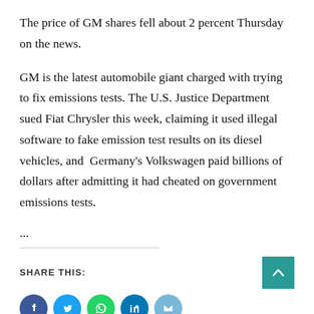The price of GM shares fell about 2 percent Thursday on the news.
GM is the latest automobile giant charged with trying to fix emissions tests. The U.S. Justice Department sued Fiat Chrysler this week, claiming it used illegal software to fake emission test results on its diesel vehicles, and Germany's Volkswagen paid billions of dollars after admitting it had cheated on government emissions tests.
...
SHARE THIS: